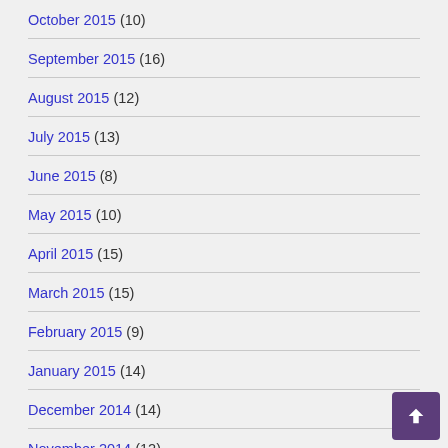October 2015 (10)
September 2015 (16)
August 2015 (12)
July 2015 (13)
June 2015 (8)
May 2015 (10)
April 2015 (15)
March 2015 (15)
February 2015 (9)
January 2015 (14)
December 2014 (14)
November 2014 (12)